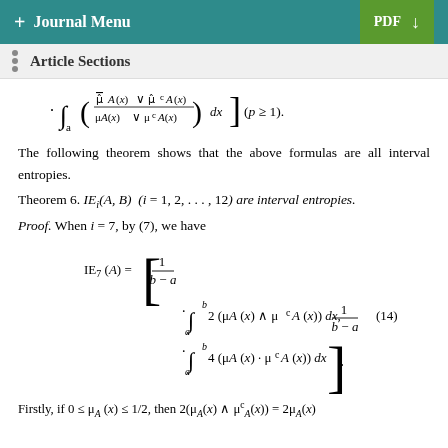+ Journal Menu   PDF
Article Sections
The following theorem shows that the above formulas are all interval entropies.
Theorem 6. IE_i(A, B) (i = 1, 2, ..., 12) are interval entropies.
Proof. When i = 7, by (7), we have
Firstly, if 0 ≤ μ_A(x) ≤ 1/2, then 2(μ_A(x) ∧ μ^c_A(x)) = 2μ_A(x)